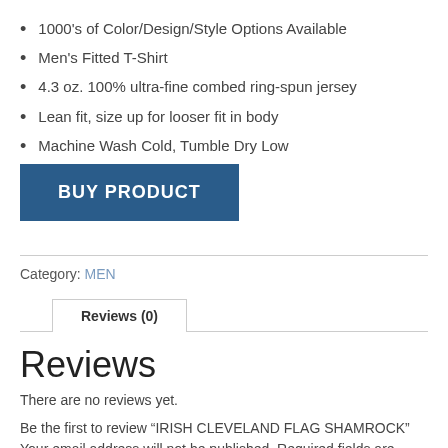1000's of Color/Design/Style Options Available
Men's Fitted T-Shirt
4.3 oz. 100% ultra-fine combed ring-spun jersey
Lean fit, size up for looser fit in body
Machine Wash Cold, Tumble Dry Low
BUY PRODUCT
Category: MEN
Reviews (0)
Reviews
There are no reviews yet.
Be the first to review “IRISH CLEVELAND FLAG SHAMROCK” Your email address will not be published. Required fields are